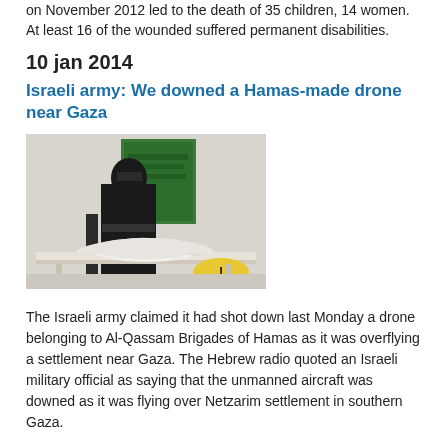on November 2012 led to the death of 35 children, 14 women. At least 16 of the wounded suffered permanent disabilities.
10 jan 2014
Israeli army: We downed a Hamas-made drone near Gaza
[Figure (photo): A masked militant in black standing behind a small white drone on a table, with a green flag or banner visible in the background.]
The Israeli army claimed it had shot down last Monday a drone belonging to Al-Qassam Brigades of Hamas as it was overflying a settlement near Gaza. The Hebrew radio quoted an Israeli military official as saying that the unmanned aircraft was downed as it was flying over Netzarim settlement in southern Gaza.
The official added that Israel had developed defense systems with the aim of countering drones that might be possibly operated by